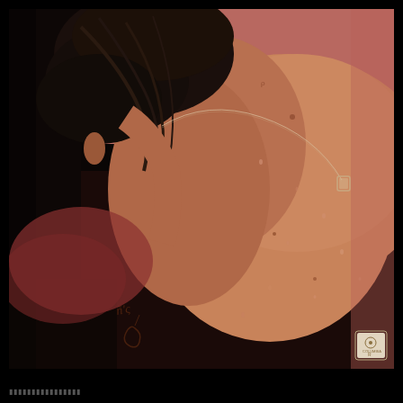[Figure (photo): Album cover photograph showing the bare back and shoulder of a person with dark wet hair, visible tattoos on the lower back/arm area including what appears to be a guitar and script tattoos, wearing a delicate silver chain necklace with a small pendant. The background is a dusty rose/pink color. Water droplets are visible on the skin. A small Columbia Records logo badge appears in the lower right corner of the image. The overall mood is intimate and artistic.]
▮▮▮▮▮▮▮▮▮▮▮▮▮▮▮▮